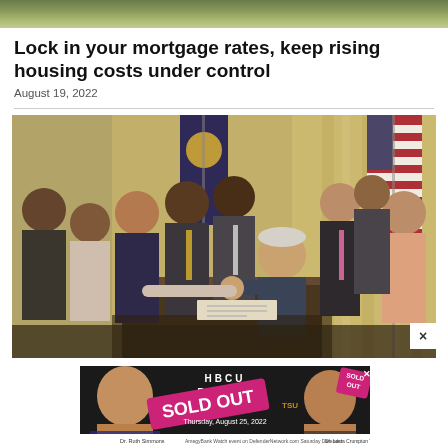[Figure (photo): Top partial image of outdoor scene, cropped at top of page]
Lock in your mortgage rates, keep rising housing costs under control
August 19, 2022
[Figure (photo): Group photo of officials at a White House signing ceremony, including President Biden seated at a desk surrounded by dignitaries including Vice President Kamala Harris and others, with American flags in the background]
[Figure (photo): Advertisement banner: HBCU Presidents Roundtable, SOLD OUT, TSU, Thursday August 25 2022, featuring Dr. Ruth Simmons and Dr. Lecia Crumpton Young, with Amegy Bank branding and Defender newspaper]